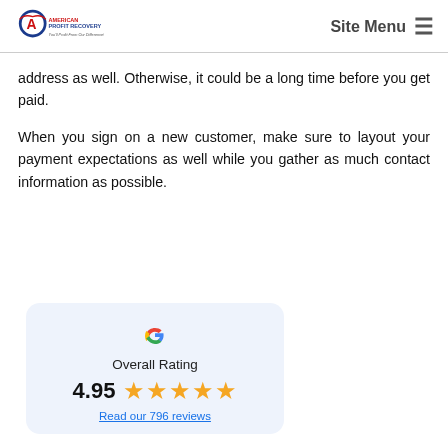American Profit Recovery — Site Menu
address as well. Otherwise, it could be a long time before you get paid.
When you sign on a new customer, make sure to layout your payment expectations as well while you gather as much contact information as possible.
[Figure (infographic): Google Overall Rating widget showing 4.95 stars out of 5 with 796 reviews. Includes Google 'G' logo, text 'Overall Rating', bold '4.95', five gold stars, and a link 'Read our 796 reviews'.]